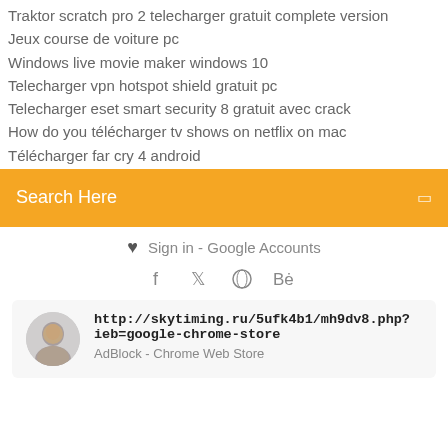Traktor scratch pro 2 telecharger gratuit complete version
Jeux course de voiture pc
Windows live movie maker windows 10
Telecharger vpn hotspot shield gratuit pc
Telecharger eset smart security 8 gratuit avec crack
How do you télécharger tv shows on netflix on mac
Télécharger far cry 4 android
[Figure (screenshot): Orange search bar with text 'Search Here' and a small icon on the right]
♥  Sign in - Google Accounts
[Figure (infographic): Social media icons: Facebook (f), Twitter bird, Dribbble, Behance (Be)]
[Figure (photo): Result card with avatar photo of a man, URL http://skytiming.ru/5ufk4b1/mh9dv8.php?ieb=google-chrome-store, and subtitle AdBlock - Chrome Web Store]